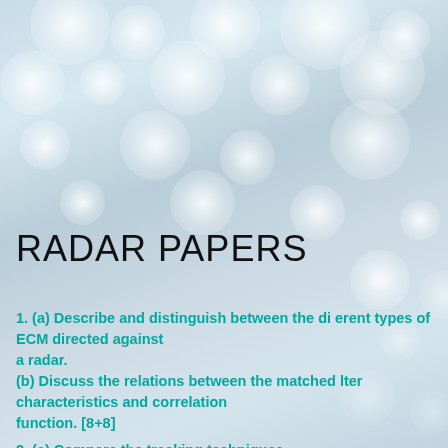[Figure (photo): Bokeh/defocused light bubbles background image in light blue-grey tones]
RADAR PAPERS
1. (a) Describe and distinguish between the di erent types of ECM directed against a radar.
(b) Discuss the relations between the matched lter characteristics and correlation function. [8+8]
2. (a) Compare the tracking techniques.
(b) Explain in detail about limitations to tracking accuracy. [10+6]
3. (a) Discuss in detail the choice of various parameters that